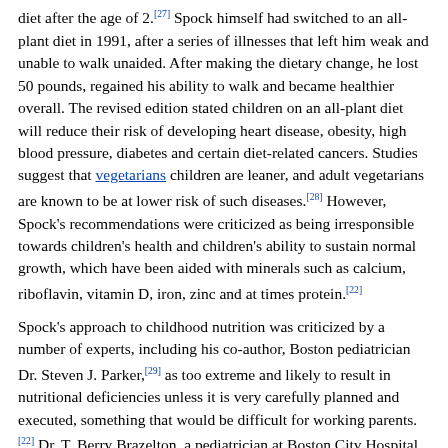diet after the age of 2.[27] Spock himself had switched to an all-plant diet in 1991, after a series of illnesses that left him weak and unable to walk unaided. After making the dietary change, he lost 50 pounds, regained his ability to walk and became healthier overall. The revised edition stated children on an all-plant diet will reduce their risk of developing heart disease, obesity, high blood pressure, diabetes and certain diet-related cancers. Studies suggest that vegetarians children are leaner, and adult vegetarians are known to be at lower risk of such diseases.[28] However, Spock's recommendations were criticized as being irresponsible towards children's health and children's ability to sustain normal growth, which have been aided with minerals such as calcium, riboflavin, vitamin D, iron, zinc and at times protein.[22]
Spock's approach to childhood nutrition was criticized by a number of experts, including his co-author, Boston pediatrician Dr. Steven J. Parker,[29] as too extreme and likely to result in nutritional deficiencies unless it is very carefully planned and executed, something that would be difficult for working parents.[22] Dr. T. Berry Brazelton, a pediatrician at Boston City Hospital who specialized in child behavior and who was also a longtime admirer and friend of Dr. Spock, called the new dietary recommendations "absolutely insane."[22] Dr. Neal Barnard, president of Physicians for Responsible Medicine, an organization in Washington, that...